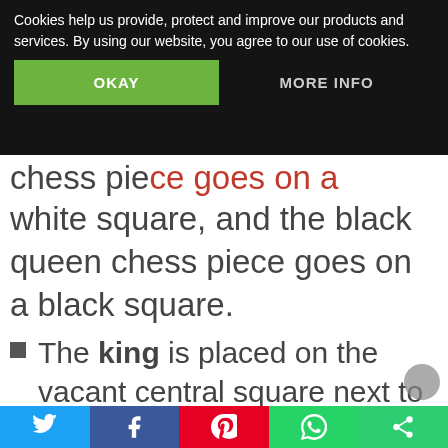Cookies help us provide, protect and improve our products and services. By using our website, you agree to our use of cookies.
OKAY
MORE INFO
white square, and the black queen chess piece goes on a black square.
The king is placed on the vacant central square next to the queen.
The pawns are placed one square in front of all the pieces.
An easy way to remember how to set up chess pieces on a chessboard is: “queen on her own